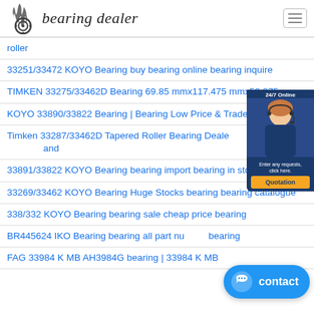bearing dealer
roller
33251/33472 KOYO Bearing buy bearing online bearing inquire
TIMKEN 33275/33462D Bearing 69.85 mmx117.475 mmx53.975 mm
KOYO 33890/33822 Bearing | Bearing Low Price & Trade
Timken 33287/33462D Tapered Roller Bearing Dealer and
33891/33822 KOYO Bearing bearing import bearing in stock now
33269/33462 KOYO Bearing Huge Stocks bearing bearing catalogue
338/332 KOYO Bearing bearing sale cheap price bearing
BR445624 IKO Bearing bearing all part nu bearing
FAG 33984 K MB AH3984G bearing | 33984 K MB